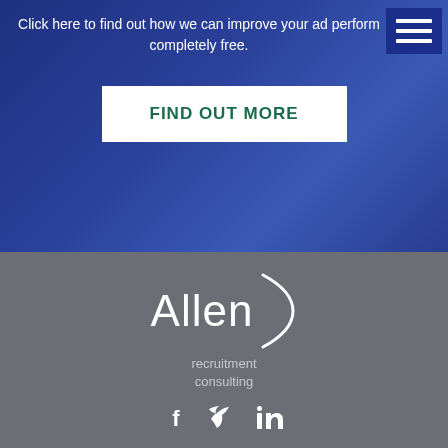Click here to find out how we can improve your ad perform completely free.
[Figure (other): Find Out More button - white rectangle with dark green bold uppercase text 'FIND OUT MORE']
[Figure (logo): Allen recruitment consulting logo - white text with parenthesis bracket, followed by social media icons for Facebook, Twitter, and LinkedIn]